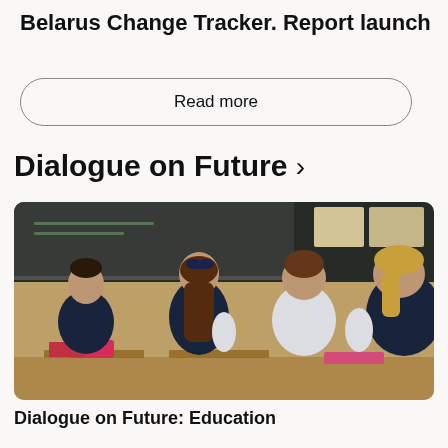Belarus Change Tracker. Report launch
Read more
Dialogue on Future >
[Figure (photo): Children sitting at school desks from behind, in a classroom setting with a chalkboard in the background. Several girls and a boy are visible with their backs to the camera.]
Dialogue on Future: Education